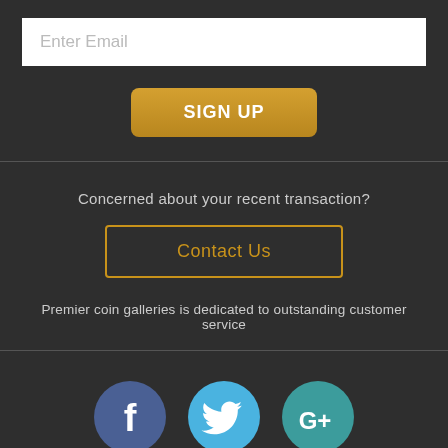Enter Email
SIGN UP
Concerned about your recent transaction?
Contact Us
Premier coin galleries is dedicated to outstanding customer service
[Figure (illustration): Social media icons: Facebook (blue circle with f), Twitter (light blue circle with bird), Google+ (teal circle with G+)]